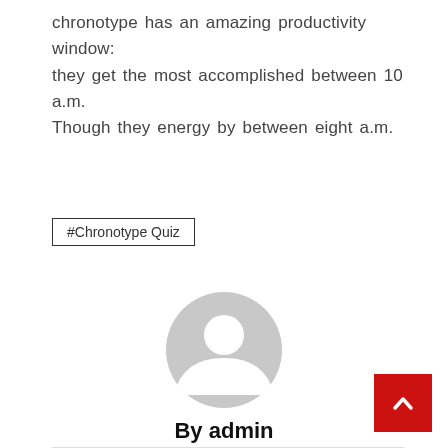chronotype has an amazing productivity window: they get the most accomplished between 10 a.m. Though they energy by between eight a.m.
#Chronotype Quiz
[Figure (illustration): Generic user avatar placeholder: grey circle with white silhouette of a person]
By admin
[Figure (illustration): Home icon symbol]
[Figure (illustration): Red scroll-to-top button with white upward chevron]